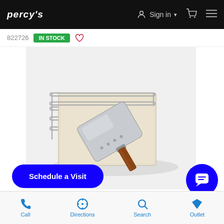PERCY'S   Sign in   [cart]   [menu]
822726   IN STOCK   ♡
[Figure (photo): Pizza stone with metal wire rack and aluminum pizza peel with wooden handle on white background]
Schedule a Visit
Call   Directions   Search   Outlet